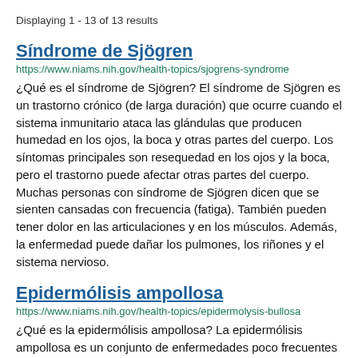Displaying 1 - 13 of 13 results
Síndrome de Sjögren
https://www.niams.nih.gov/health-topics/sjogrens-syndrome
¿Qué es el síndrome de Sjögren? El síndrome de Sjögren es un trastorno crónico (de larga duración) que ocurre cuando el sistema inmunitario ataca las glándulas que producen humedad en los ojos, la boca y otras partes del cuerpo. Los síntomas principales son resequedad en los ojos y la boca, pero el trastorno puede afectar otras partes del cuerpo. Muchas personas con síndrome de Sjögren dicen que se sienten cansadas con frecuencia (fatiga). También pueden tener dolor en las articulaciones y en los músculos. Además, la enfermedad puede dañar los pulmones, los riñones y el sistema nervioso.
Epidermólisis ampollosa
https://www.niams.nih.gov/health-topics/epidermolysis-bullosa
¿Qué es la epidermólisis ampollosa? La epidermólisis ampollosa es un conjunto de enfermedades poco frecuentes que ocasionan fragilidad en la piel, por lo que esta se ampolla o se rasga. Esas rasgaduras, llagas y ampollas ocurren debido a una fricción o un golpe en la piel y pueden aparecer en cualquier parte del cuerpo